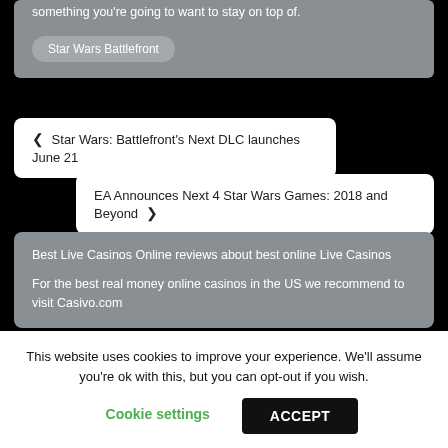something you're going to want to stay on top of.
Star Wars Battlefront
❮ Star Wars: Battlefront's Next DLC launches June 21
EA Announces Next 4 Star Wars Games: 2018 and Beyond ❯
Best Live Casinos Online reviews about best online Live Casinos
For the best real money online casinos in the US we recommend to visit Casivo.com
This website uses cookies to improve your experience. We'll assume you're ok with this, but you can opt-out if you wish.
Cookie settings
ACCEPT